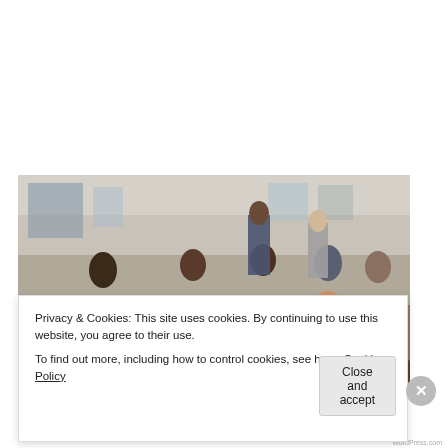T. Elliot Gaiser
July 18, 2013 at 5:35 pm
[Figure (photo): A large group of people seated in patterned chairs in a community meeting room. Several people are standing at the front/center. The room has bulletin boards and windows in the background.]
Privacy & Cookies: This site uses cookies. By continuing to use this website, you agree to their use.
To find out more, including how to control cookies, see here: Cookie Policy